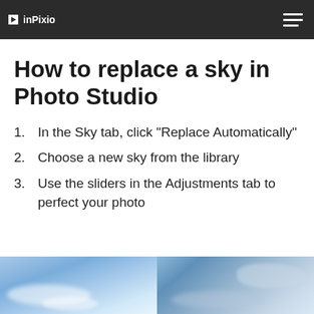inPixio
How to replace a sky in Photo Studio
In the Sky tab, click “Replace Automatically”
Choose a new sky from the library
Use the sliders in the Adjustments tab to perfect your photo
[Figure (photo): Two side-by-side sky photos showing blue sky with white clouds]